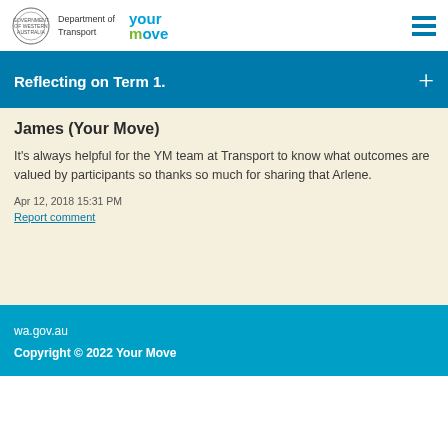Department of Transport | Your Move
Reflecting on Term 1.
James (Your Move)
It's always helpful for the YM team at Transport to know what outcomes are valued by participants so thanks so much for sharing that Arlene.
Apr 12, 2018 15:31 PM
Report comment
wa.gov.au
Copyright © 2022 Your Move